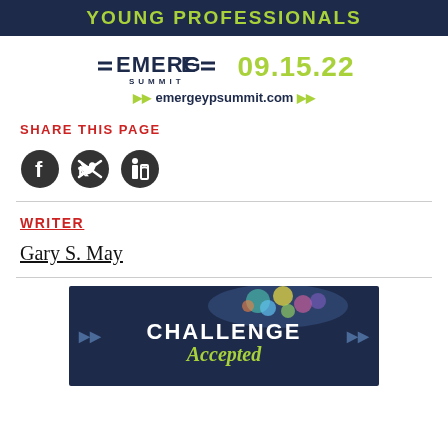YOUNG PROFESSIONALS
[Figure (logo): EMERGE SUMMIT logo with date 09.15.22 and website emergeypsummit.com]
SHARE THIS PAGE
[Figure (illustration): Social media icons: Facebook, Twitter, LinkedIn]
WRITER
Gary S. May
[Figure (illustration): Challenge Accepted banner with dark blue background and colorful paint splash]